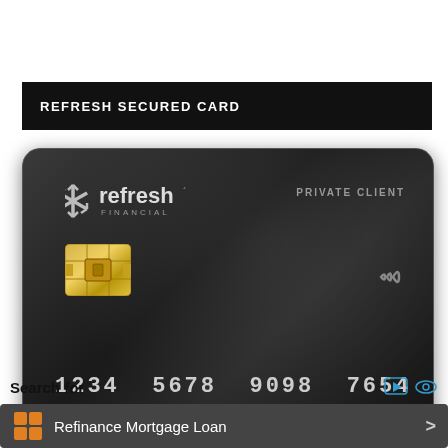REFRESH SECURED CARD
[Figure (photo): Refresh Financial Private Client secured credit card, dark metallic black, showing chip, contactless symbol, card number 1234 5678 9098 7654, expiration 00/00]
Search for
Refinance Mortgage Loan